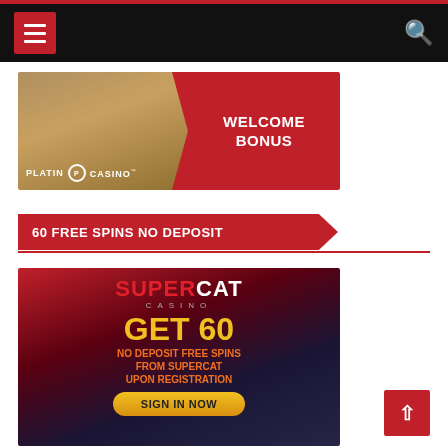Navigation bar with hamburger menu and search icon
[Figure (screenshot): Platin Casino welcome bonus banner advertisement with cowboy figure on left and red ribbon showing WELCOME BONUS text on right]
60 FREE SPINS NO DEPOSIT
[Figure (screenshot): SuperCat Casino advertisement showing GET 60 NO DEPOSIT FREE SPINS FROM SUPERCAT UPON REGISTRATION with SIGN IN NOW button]